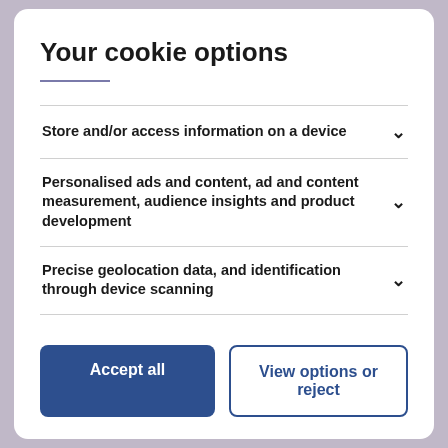Your cookie options
Store and/or access information on a device
Personalised ads and content, ad and content measurement, audience insights and product development
Precise geolocation data, and identification through device scanning
Accept all
View options or reject